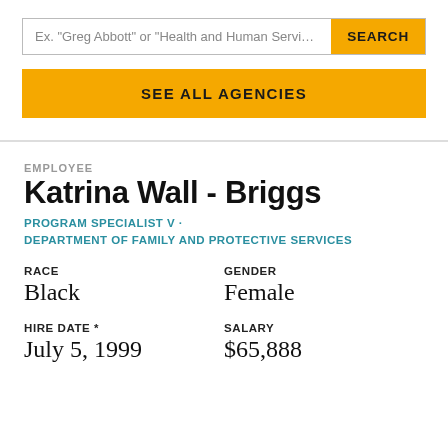[Figure (screenshot): Search bar with placeholder text 'Ex. "Greg Abbott" or "Health and Human Services C...' and a yellow SEARCH button]
[Figure (screenshot): Yellow button labeled 'SEE ALL AGENCIES']
EMPLOYEE
Katrina Wall - Briggs
PROGRAM SPECIALIST V · DEPARTMENT OF FAMILY AND PROTECTIVE SERVICES
RACE
Black
GENDER
Female
HIRE DATE *
July 5, 1999
SALARY
$65,888